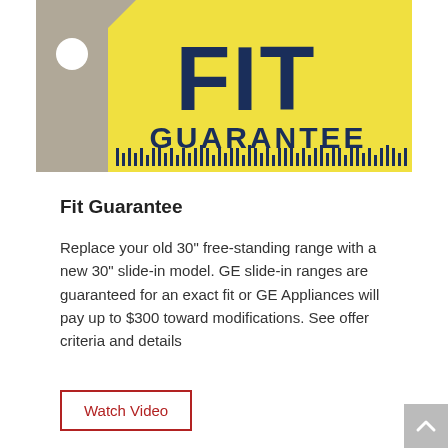[Figure (logo): FIT GUARANTEE logo: yellow background with dark navy bold text 'FIT' large on top and 'GUARANTEE' below, with a grey tag/key shape on the left side and a ruler/barcode pattern along the bottom]
Fit Guarantee
Replace your old 30" free-standing range with a new 30" slide-in model. GE slide-in ranges are guaranteed for an exact fit or GE Appliances will pay up to $300 toward modifications. See offer criteria and details
[Figure (other): Watch Video button — red-bordered rectangle with red text 'Watch Video']